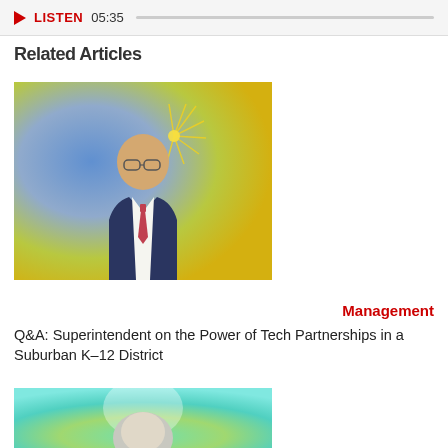LISTEN 05:35
Related Articles
[Figure (photo): Professional headshot of a bald man wearing glasses and a suit with a striped tie, against a colorful blue and gold halftone background with starburst effect]
Management
Q&A: Superintendent on the Power of Tech Partnerships in a Suburban K–12 District
[Figure (photo): Partial photo of a person with light hair against a bright green and teal background with light effects, cropped at the bottom of the page]